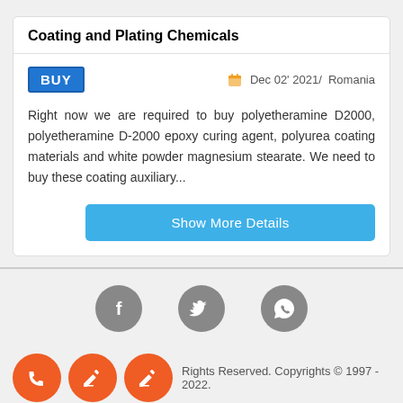Coating and Plating Chemicals
BUY   Dec 02' 2021/  Romania
Right now we are required to buy polyetheramine D2000, polyetheramine D-2000 epoxy curing agent, polyurea coating materials and white powder magnesium stearate. We need to buy these coating auxiliary...
Show More Details
[Figure (infographic): Social media icons: Facebook, Twitter, WhatsApp in grey circles]
[Figure (infographic): Three orange circular icon buttons (phone, edit, edit) at bottom left]
Rights Reserved. Copyrights © 1997 - 2022.